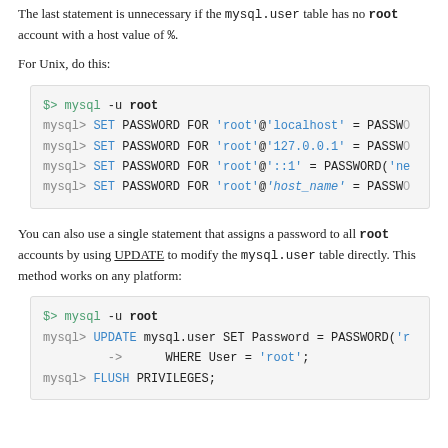The last statement is unnecessary if the mysql.user table has no root account with a host value of %.
For Unix, do this:
[Figure (screenshot): Code block showing Unix shell commands: $> mysql -u root, then four mysql> SET PASSWORD FOR statements for 'root'@'localhost', 'root'@'127.0.0.1', 'root'@'::1', and 'root'@'host_name' each set to PASSWORD(...)]
You can also use a single statement that assigns a password to all root accounts by using UPDATE to modify the mysql.user table directly. This method works on any platform:
[Figure (screenshot): Code block showing: $> mysql -u root, mysql> UPDATE mysql.user SET Password = PASSWORD('r... -> WHERE User = 'root';, mysql> FLUSH PRIVILEGES;]